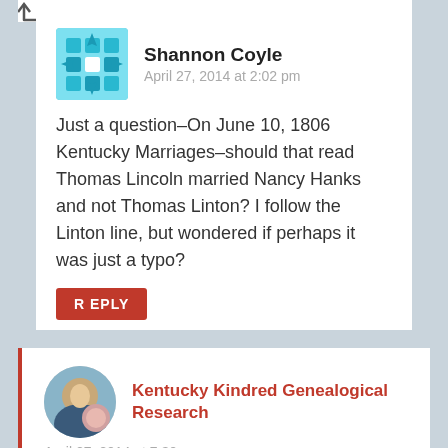[Figure (illustration): Top left corner of a navigation arrow icon, partially visible]
Shannon Coyle
April 27, 2014 at 2:02 pm
Just a question–On June 10, 1806 Kentucky Marriages–should that read Thomas Lincoln married Nancy Hanks and not Thomas Linton? I follow the Linton line, but wondered if perhaps it was just a typo?
REPLY
[Figure (photo): Round avatar photo of a person, circular crop]
Kentucky Kindred Genealogical Research
April 27, 2014 at 7:30 pm
You are right! I've made the change! Thanks so much for bringing that mistake to my